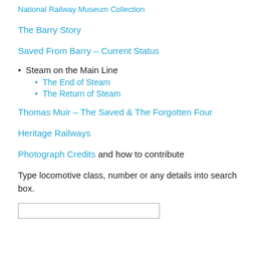National Railway Museum Collection
The Barry Story
Saved From Barry – Current Status
Steam on the Main Line
The End of Steam
The Return of Steam
Thomas Muir – The Saved & The Forgotten Four
Heritage Railways
Photograph Credits and how to contribute
Type locomotive class, number or any details into search box.